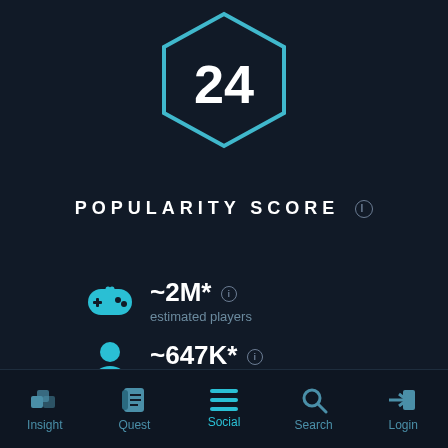[Figure (infographic): Hexagon badge with the number 24 inside, outlined in cyan/teal color on dark navy background]
POPULARITY SCORE
[Figure (infographic): Gamepad icon (cyan) with stat: ~2M* estimated players]
[Figure (infographic): Person/user icon (cyan) with stat: ~647K* estimated active players]
[Figure (infographic): Partially visible third stat row at bottom]
Insight   Quest   Social   Search   Login